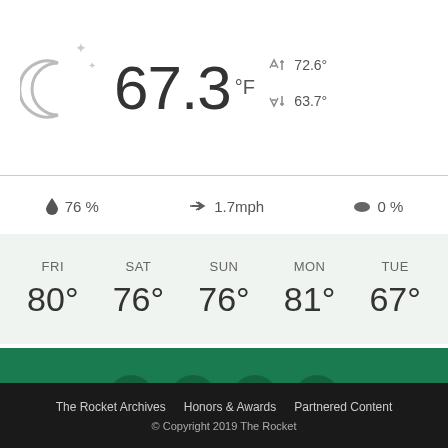[Figure (other): Weather widget showing night/clear sky moon icon, current temperature 67.3°F, high 72.6°, low 63.7°]
76 %   1.7mph   0 %
| FRI | SAT | SUN | MON | TUE |
| --- | --- | --- | --- | --- |
| 80° | 76° | 76° | 81° | 67° |
[Figure (other): Green footer bar with social media icons: Facebook, Instagram, Twitter, YouTube]
The Rocket Archives   Honors & Awards   Partnered Content
© Copyright 2019 The Rocket